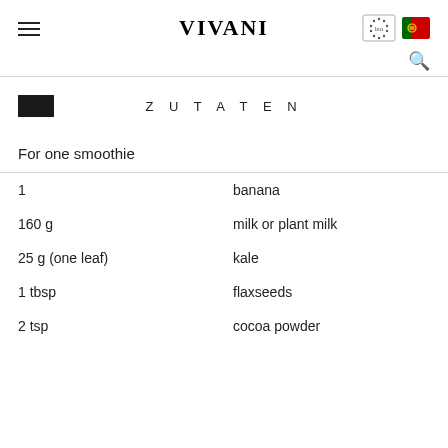VIVANI
ZUTATEN
For one smoothie
1 — banana
160 g — milk or plant milk
25 g (one leaf) — kale
1 tbsp — flaxseeds
2 tsp — cocoa powder